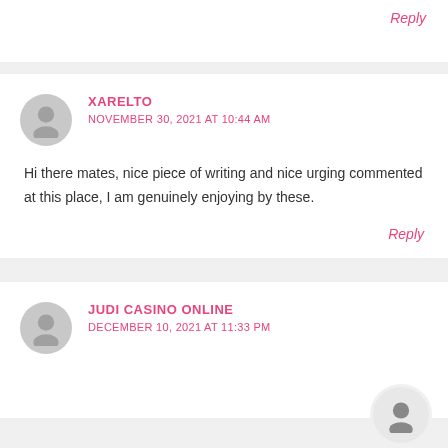Reply
XARELTO
NOVEMBER 30, 2021 AT 10:44 AM
Hi there mates, nice piece of writing and nice urging commented at this place, I am genuinely enjoying by these.
Reply
JUDI CASINO ONLINE
DECEMBER 10, 2021 AT 11:33 PM